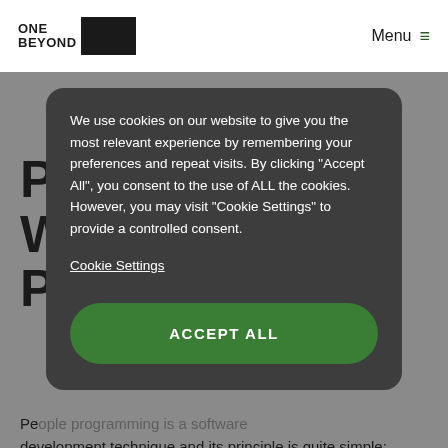ONE BEYOND | Menu
P
W
P
We use cookies on our website to give you the most relevant experience by remembering your preferences and repeat visits. By clicking "Accept All", you consent to the use of ALL the cookies. However, you may visit "Cookie Settings" to provide a controlled consent.
Cookie Settings
ACCEPT ALL
Pe... development technique and its principle is quite simple: two developers work together on the same codebase by sharing a screen and a keyboard, whether